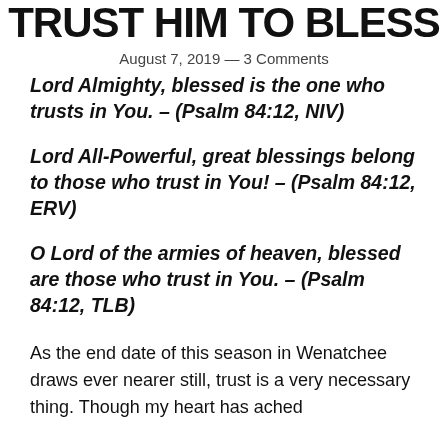TRUST HIM TO BLESS
August 7, 2019 — 3 Comments
Lord Almighty, blessed is the one who trusts in You. – (Psalm 84:12, NIV)
Lord All-Powerful, great blessings belong to those who trust in You! – (Psalm 84:12, ERV)
O Lord of the armies of heaven, blessed are those who trust in You. – (Psalm 84:12, TLB)
As the end date of this season in Wenatchee draws ever nearer still, trust is a very necessary thing. Though my heart has ached